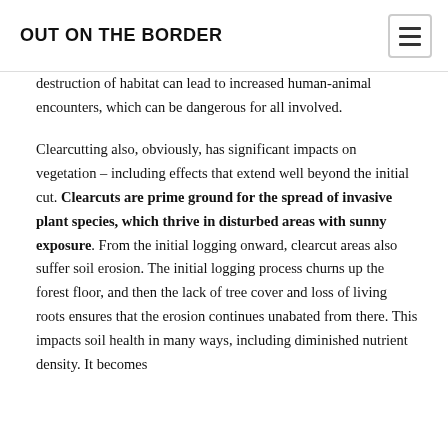OUT ON THE BORDER
destruction of habitat can lead to increased human-animal encounters, which can be dangerous for all involved.
Clearcutting also, obviously, has significant impacts on vegetation – including effects that extend well beyond the initial cut. Clearcuts are prime ground for the spread of invasive plant species, which thrive in disturbed areas with sunny exposure. From the initial logging onward, clearcut areas also suffer soil erosion. The initial logging process churns up the forest floor, and then the lack of tree cover and loss of living roots ensures that the erosion continues unabated from there. This impacts soil health in many ways, including diminished nutrient density. It becomes